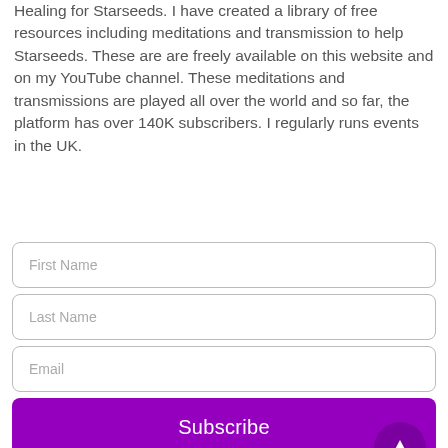Healing for Starseeds. I have created a library of free resources including meditations and transmission to help Starseeds. These are are freely available on this website and on my YouTube channel. These meditations and transmissions are played all over the world and so far, the platform has over 140K subscribers. I regularly runs events in the UK.
First Name
Last Name
Email
Subscribe